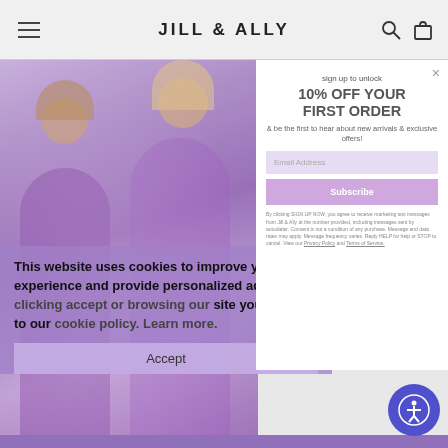JILL & ALLY
Imported
Size:
Removable chain crossbody strap, 20" drop
[Figure (photo): Two women in purple/lavender sparkly dresses posing together in a room]
This website uses cookies to improve your experience and provide personalized ads. By clicking accept or browsing our site you consent to our cookie policy. Learn more.
Accept
sign up to unlock
10% OFF YOUR FIRST ORDER
& be the first to hear about new arrivals & exclusive offers!
Email Address
Subscribe
By clicking SIGN UP NOW, you agree to receive marketing text messages from Jill & Ally at the number provided, including messages sent by autodialer. Consent is not a condition of any purchase. Message and data rates may apply. Message frequency varies. Reply HELP for help or STOP to cancel. View our Privacy Policy and Terms of Service.